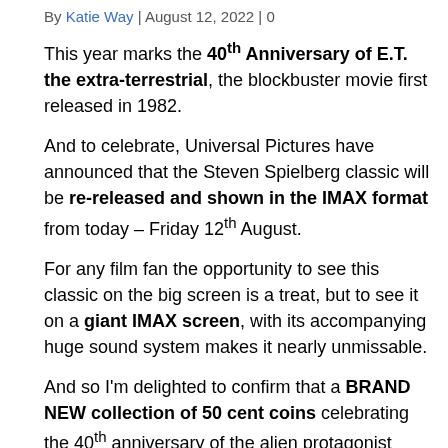By Katie Way | August 12, 2022 | 0
This year marks the 40th Anniversary of E.T. the extra-terrestrial, the blockbuster movie first released in 1982.
And to celebrate, Universal Pictures have announced that the Steven Spielberg classic will be re-released and shown in the IMAX format from today – Friday 12th August.
For any film fan the opportunity to see this classic on the big screen is a treat, but to see it on a giant IMAX screen, with its accompanying huge sound system makes it nearly unmissable.
And so I'm delighted to confirm that a BRAND NEW collection of 50 cent coins celebrating the 40th anniversary of the alien protagonist 'E.T. the extra-terrestrial' WILL be released a little later this year.
The exact designs are yet to be revealed but the 50c coins will be issued by Pitcairn Islands and have been